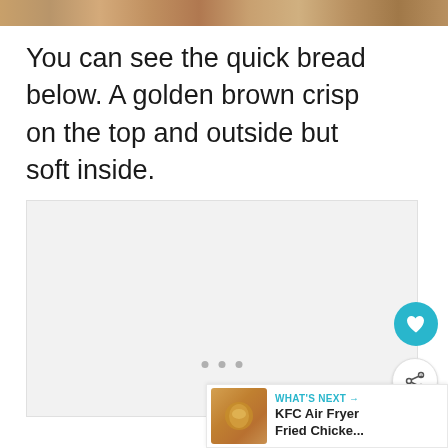[Figure (photo): Top strip showing a food photo (quick bread), partially cropped at the top of the page]
You can see the quick bread below. A golden brown crisp on the top and outside but soft inside.
[Figure (photo): Large light gray placeholder/loading image area for a photo of the quick bread]
[Figure (screenshot): UI overlay elements: heart favorite button (teal), share button (white), and a 'WHAT'S NEXT' card showing KFC Air Fryer Fried Chicke...]